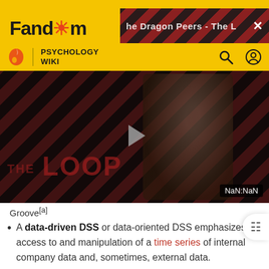Fandom | PSYCHOLOGY WIKI
[Figure (screenshot): Fandom website header with yellow background, Fandom logo, ad banner with diagonal stripe pattern, and Psychology Wiki navigation bar with flame icon, search icon, and user icon]
[Figure (screenshot): Video player showing 'THE LOOP' title with dark diagonal striped background, a person in the background, play button in center, and NaN:NaN timestamp badge]
Groove[a]
A data-driven DSS or data-oriented DSS emphasizes access to and manipulation of a time series of internal company data and, sometimes, external data.
A document-driven DSS manages, retrieves, and...